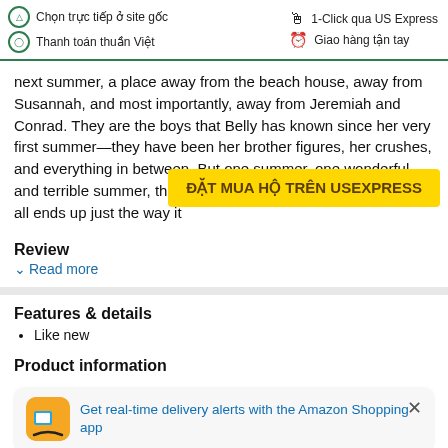Chọn trực tiếp ở site gốc | Thanh toán thuần Việt | 1-Click qua US Express | Giao hàng tận tay
next summer, a place away from the beach house, away from Susannah, and most importantly, away from Jeremiah and Conrad. They are the boys that Belly has known since her very first summer—they have been her brother figures, her crushes, and everything in between. But one summer, one wonderful and terrible summer, the more everything changes, the more it all ends up just the way it
[Figure (infographic): Yellow banner with text: ĐẶT MUA HỘ TRÊN USEXPRESS]
Review
∨ Read more
Features & details
Like new
Product information
Get real-time delivery alerts with the Amazon Shopping app